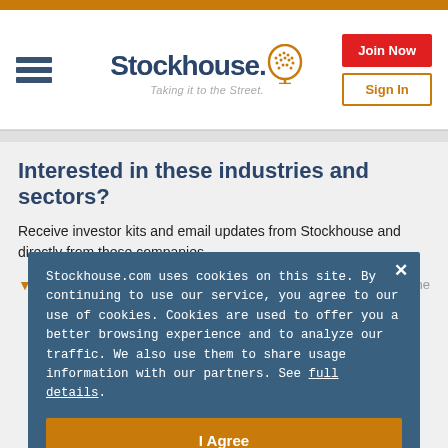[Figure (logo): Stockhouse logo with hamburger menu icon, brand name 'Stockhouse.' with orange head icon, tagline 'Taking it to the Street.', Join Now red button, Sign In outlined button]
Interested in these industries and sectors?
Receive investor kits and email updates from Stockhouse and directly from these companies.
Healthcare
Stockhouse.com uses cookies on this site. By continuing to use our service, you agree to our use of cookies. Cookies are used to offer you a better browsing experience and to analyze our traffic. We also use them to share usage information with our partners. See full details.